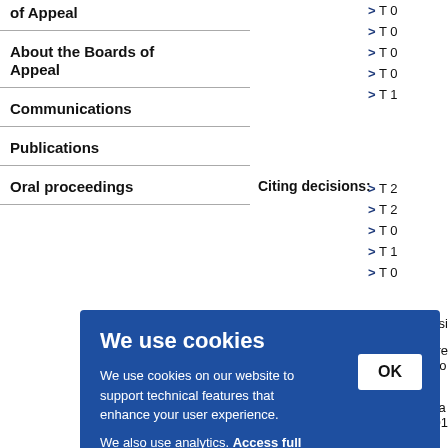of Appeal
About the Boards of Appeal
Communications
Publications
Oral proceedings
Citing decisions:
missi
(here oppo
lled, a er 201
[Figure (screenshot): Cookie consent overlay on a legal/patent website. Blue background with title 'We use cookies', body text explaining cookie usage for technical features and analytics, a link 'Access full information on cookies that we use and how to manage them', and an OK button.]